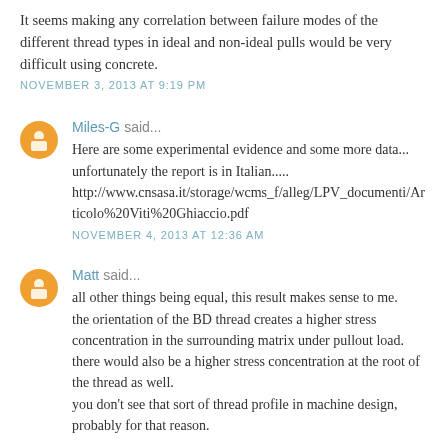It seems making any correlation between failure modes of the different thread types in ideal and non-ideal pulls would be very difficult using concrete.
NOVEMBER 3, 2013 AT 9:19 PM
Miles-G said...
Here are some experimental evidence and some more data... unfortunately the report is in Italian..... http://www.cnsasa.it/storage/wcms_f/alleg/LPV_documenti/Articolo%20Viti%20Ghiaccio.pdf
NOVEMBER 4, 2013 AT 12:36 AM
Matt said...
all other things being equal, this result makes sense to me. the orientation of the BD thread creates a higher stress concentration in the surrounding matrix under pullout load. there would also be a higher stress concentration at the root of the thread as well. you don't see that sort of thread profile in machine design, probably for that reason.